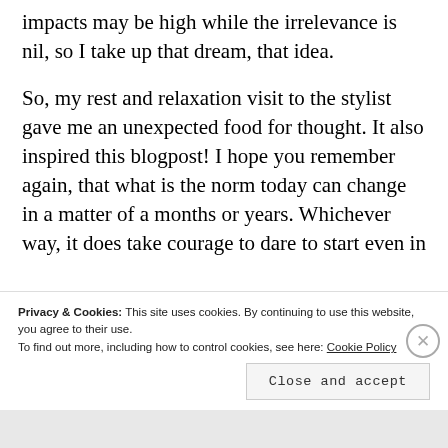impacts may be high while the irrelevance is nil, so I take up that dream, that idea.
So, my rest and relaxation visit to the stylist gave me an unexpected food for thought. It also inspired this blogpost! I hope you remember again, that what is the norm today can change in a matter of a months or years. Whichever way, it does take courage to dare to start even in
Privacy & Cookies: This site uses cookies. By continuing to use this website, you agree to their use.
To find out more, including how to control cookies, see here: Cookie Policy
Close and accept